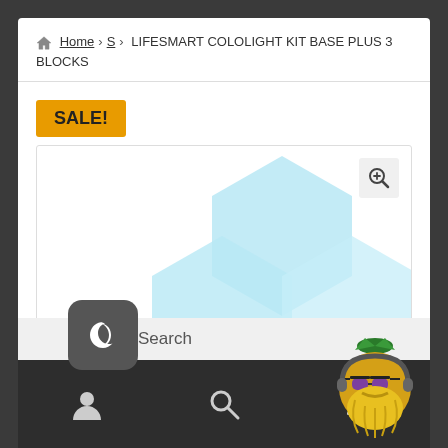Home > S > LIFESMART COLOLIGHT KIT BASE PLUS 3 BLOCKS
SALE!
[Figure (photo): Product photo showing blue hexagonal light panels (Cololight) on white background with zoom icon in top right corner]
[Figure (screenshot): Mobile UI bottom bar with moon/dark mode toggle button, search bar, and navigation icons (user, search, menu). Wizard mascot logo in bottom right corner.]